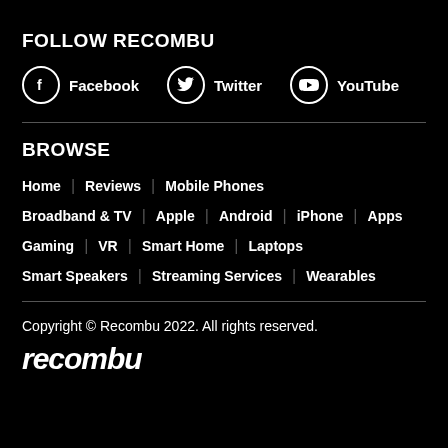FOLLOW RECOMBU
Facebook   Twitter   YouTube
BROWSE
Home   Reviews   Mobile Phones
Broadband & TV   Apple   Android   iPhone   Apps
Gaming   VR   Smart Home   Laptops
Smart Speakers   Streaming Services   Wearables
Copyright © Recombu 2022. All rights reserved.
recombu